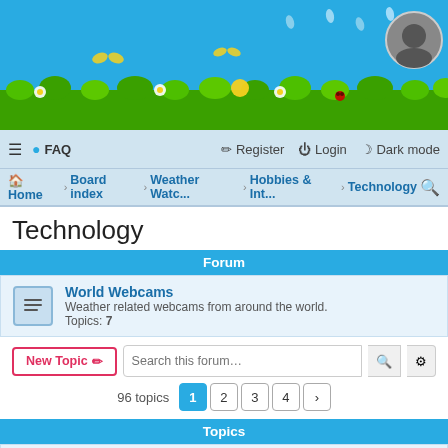[Figure (illustration): Website banner with blue sky, green grass, flowers, and rain drops. A circular avatar photo appears in the top right corner.]
≡  FAQ    Register  Login  Dark mode
Home › Board index › Weather Watc... › Hobbies & Int... › Technology 🔍
Technology
Forum
World Webcams
Weather related webcams from around the world.
Topics: 7
New Topic ✏   Search this forum…  🔍  ⚙
96 topics  1  2  3  4  >
Topics
Sticky  Dashcam talk & videos
Last post by TheWinterSoldier « Thu Apr 16, 2015 8:17 pm
Replies: 15 » 3 min read